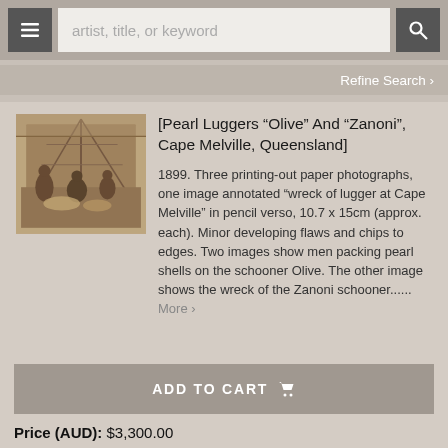artist, title, or keyword
Refine Search ›
[Figure (photo): Sepia-toned historical photograph of men on a pearl lugger schooner, packing pearl shells on deck]
[Pearl Luggers “Olive” And “Zanoni”, Cape Melville, Queensland]
1899. Three printing-out paper photographs, one image annotated “wreck of lugger at Cape Melville” in pencil verso, 10.7 x 15cm (approx. each). Minor developing flaws and chips to edges. Two images show men packing pearl shells on the schooner Olive. The other image shows the wreck of the Zanoni schooner...... More ›
ADD TO CART
Price (AUD): $3,300.00